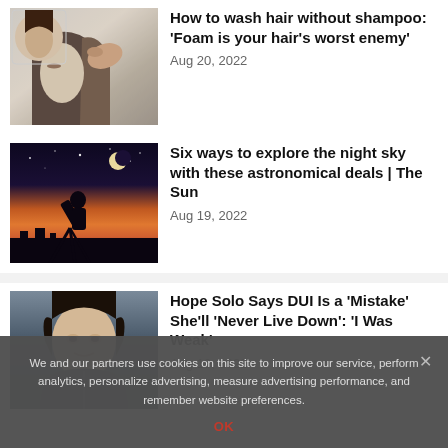[Figure (photo): Woman washing hair in shower, close-up portrait]
How to wash hair without shampoo: ‘Foam is your hair’s worst enemy’
Aug 20, 2022
[Figure (photo): Silhouette of person with telescope at sunset/night sky with moon]
Six ways to explore the night sky with these astronomical deals | The Sun
Aug 19, 2022
[Figure (photo): Hope Solo, soccer goalkeeper, portrait in dark jacket]
Hope Solo Says DUI Is a ‘Mistake’ She’ll ‘Never Live Down’: ‘I Was Weak’
Aug 19, 2022
We and our partners use cookies on this site to improve our service, perform analytics, personalize advertising, measure advertising performance, and remember website preferences.
OK